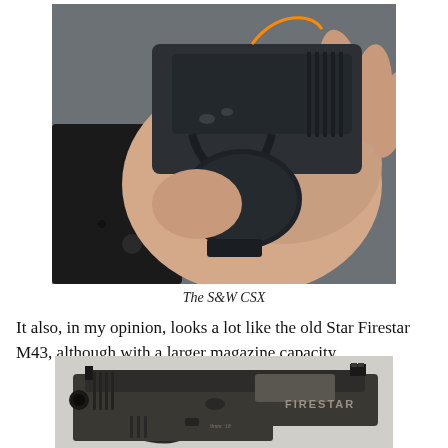[Figure (photo): A hand holding a small black Smith & Wesson CSX pistol, with a black holster visible in the background.]
The S&W CSX
It also, in my opinion, looks a lot like the old Star Firestar M43, although with a larger magazine capacity.
[Figure (photo): Side view of a Star Firestar pistol showing the slide with 'FIRESTAR' text engraved on it.]